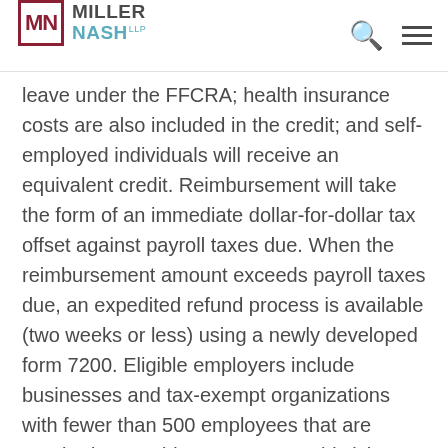Miller Nash LLP
leave under the FFCRA; health insurance costs are also included in the credit; and self-employed individuals will receive an equivalent credit. Reimbursement will take the form of an immediate dollar-for-dollar tax offset against payroll taxes due. When the reimbursement amount exceeds payroll taxes due, an expedited refund process is available (two weeks or less) using a newly developed form 7200. Eligible employers include businesses and tax-exempt organizations with fewer than 500 employees that are required to provide emergency paid sick leave and emergency paid family and medical leave under the FFCRA. Eligible employers entitled to sick leave or child care leave credits are entitled to an additional tax